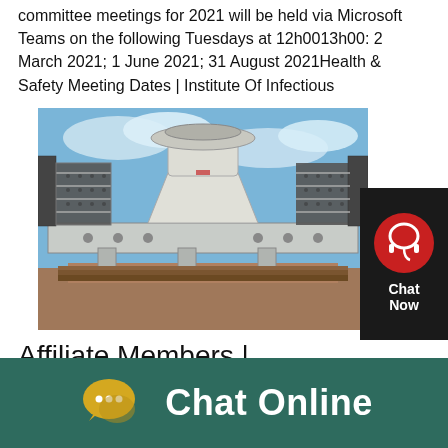committee meetings for 2021 will be held via Microsoft Teams on the following Tuesdays at 12h0013h00: 2 March 2021; 1 June 2021; 31 August 2021Health & Safety Meeting Dates | Institute Of Infectious
[Figure (photo): Industrial cone crusher machine mounted on a steel frame structure, photographed outdoors with blue sky and clouds in background.]
[Figure (screenshot): Chat widget overlay in top-right corner showing red circle with headset icon and text 'Chat Now' on dark background, with close X button.]
Affiliate Members | Institute
[Figure (infographic): Dark teal/green bottom bar with yellow speech bubble chat icon and white text 'Chat Online']